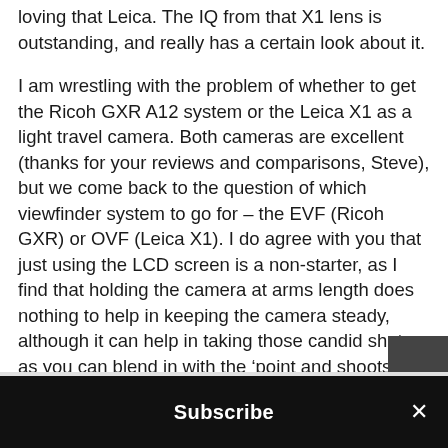loving that Leica. The IQ from that X1 lens is outstanding, and really has a certain look about it.
I am wrestling with the problem of whether to get the Ricoh GXR A12 system or the Leica X1 as a light travel camera. Both cameras are excellent (thanks for your reviews and comparisons, Steve), but we come back to the question of which viewfinder system to go for – the EVF (Ricoh GXR) or OVF (Leica X1). I do agree with you that just using the LCD screen is a non-starter, as I find that holding the camera at arms length does nothing to help in keeping the camera steady, although it can help in taking those candid shots, as you can blend in with the ‘point and shoots’ and phone cameras.
Subscribe